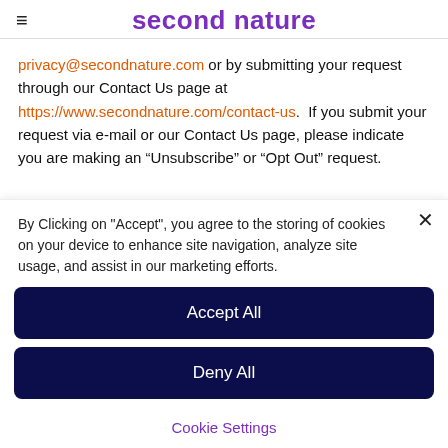second nature
privacy@secondnature.com or by submitting your request through our Contact Us page at https://www.secondnature.com/contact-us.  If you submit your request via e-mail or our Contact Us page, please indicate you are making an “Unsubscribe” or “Opt Out” request.
By Clicking on "Accept", you agree to the storing of cookies on your device to enhance site navigation, analyze site usage, and assist in our marketing efforts.
Accept All
Deny All
Cookie Settings